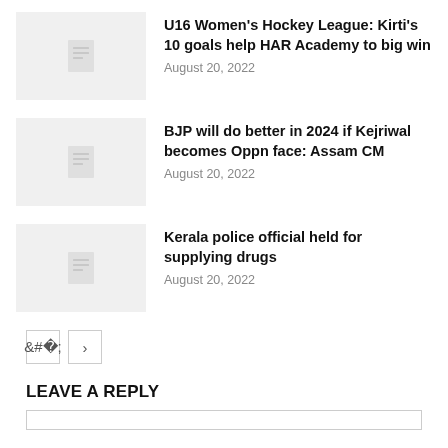U16 Women's Hockey League: Kirti's 10 goals help HAR Academy to big win — August 20, 2022
BJP will do better in 2024 if Kejriwal becomes Oppn face: Assam CM — August 20, 2022
Kerala police official held for supplying drugs — August 20, 2022
LEAVE A REPLY